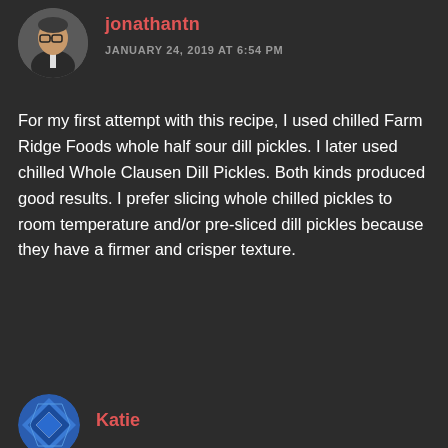[Figure (photo): Round avatar photo of a person wearing glasses and a dark jacket, gray background]
jonathantn
JANUARY 24, 2019 AT 6:54 PM
For my first attempt with this recipe, I used chilled Farm Ridge Foods whole half sour dill pickles. I later used chilled Whole Clausen Dill Pickles. Both kinds produced good results. I prefer slicing whole chilled pickles to room temperature and/or pre-sliced dill pickles because they have a firmer and crisper texture.
Like
REPLY
[Figure (illustration): Round avatar with blue/white geometric/diamond pattern]
Katie